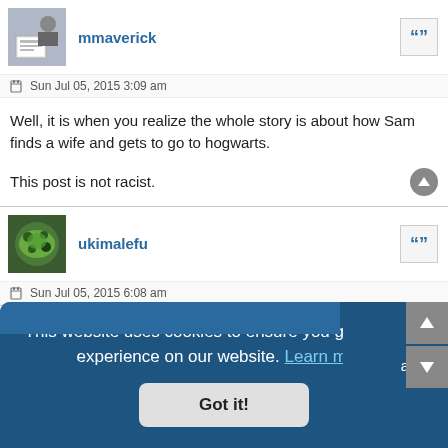mmaverick
Sun Jul 05, 2015 3:09 am
Well, it is when you realize the whole story is about how Sam finds a wife and gets to go to hogwarts.
This post is not racist.
ukimalefu
Sun Jul 05, 2015 6:08 am
This website uses cookies to ensure you get the best experience on our website. Learn more
Got it!